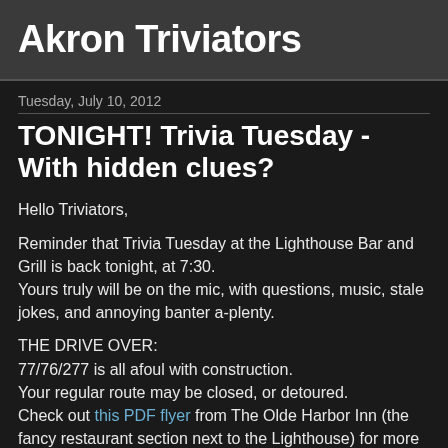Akron Triviators
Tuesday, July 10, 2012
TONIGHT! Trivia Tuesday - With hidden clues?
Hello Triviators,
Reminder that Trivia Tuesday at the Lighthouse Bar and Grill is back tonight, at 7:30.
Yours truly will be on the mic, with questions, music, stale jokes, and annoying banter a-plenty.
THE DRIVE OVER:
77/76/277 is all afoul with construction.
Your regular route may be closed, or detoured.
Check out this PDF flyer from The Olde Harbor Inn (the fancy restaurant section next to the Lighthouse) for more